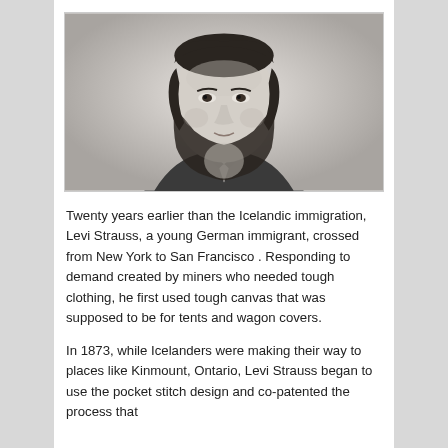[Figure (photo): Black and white portrait photograph of Levi Strauss, a young man with dark curly hair and a beard, wearing a bow tie and formal jacket, 19th century style.]
Twenty years earlier than the Icelandic immigration, Levi Strauss, a young German immigrant, crossed from New York to San Francisco . Responding to demand created by miners who needed tough clothing, he first used tough canvas that was supposed to be for tents and wagon covers.
In 1873, while Icelanders were making their way to places like Kinmount, Ontario, Levi Strauss began to use the pocket stitch design and co-patented the process that